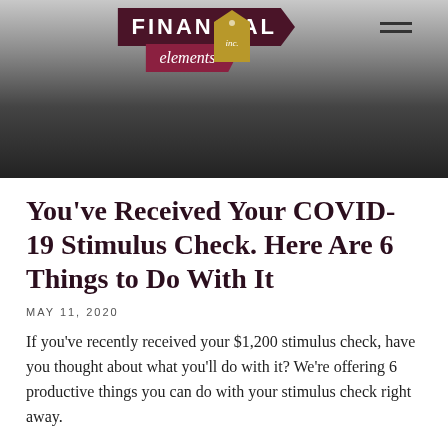[Figure (illustration): Financial Elements Inc. logo and hero banner with dark background. Logo shows 'FINANCIAL' in dark maroon arrow banner, 'elements' in cursive on a maroon arrow, and 'inc.' on a gold house/tag shape. Hamburger menu icon in top right.]
You've Received Your COVID-19 Stimulus Check. Here Are 6 Things to Do With It
MAY 11, 2020
If you've recently received your $1,200 stimulus check, have you thought about what you'll do with it? We're offering 6 productive things you can do with your stimulus check right away.